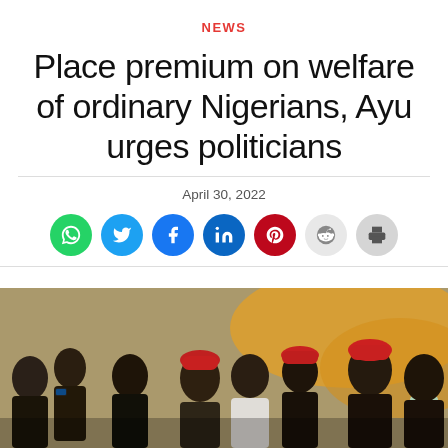NEWS
Place premium on welfare of ordinary Nigerians, Ayu urges politicians
April 30, 2022
[Figure (infographic): Social share buttons: WhatsApp, Twitter, Facebook, LinkedIn, Pinterest, Reddit, Print]
[Figure (photo): Crowd scene with people wearing red traditional caps, some in suits, at an outdoor event]